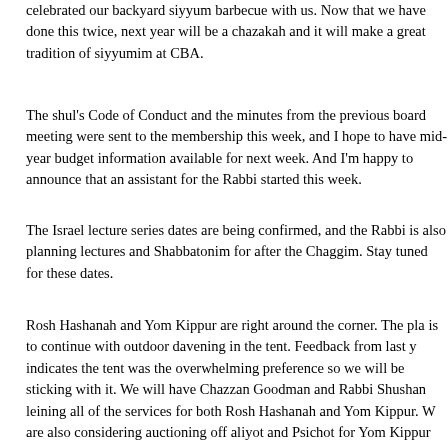Speaking of the nine days, I want to thank everyone who came and celebrated our backyard siyyum barbecue with us. Now that we have done this twice, next year will be a chazakah and it will make a great tradition of siyyumim at CBA.
The shul's Code of Conduct and the minutes from the previous board meeting were sent to the membership this week, and I hope to have mid-year budget information available for next week. And I'm happy to announce that an assistant for the Rabbi started this week.
The Israel lecture series dates are being confirmed, and the Rabbi is also planning lectures and Shabbatonim for after the Chaggim. Stay tuned for these dates.
Rosh Hashanah and Yom Kippur are right around the corner. The plan is to continue with outdoor davening in the tent. Feedback from last year indicates the tent was the overwhelming preference so we will be sticking with it. We will have Chazzan Goodman and Rabbi Shushan leining all of the services for both Rosh Hashanah and Yom Kippur. We are also considering auctioning off aliyot and Psichot for Yom Kippur this year. More to come on this.
Lastly, we've been in touch with the NYPD and they will be conducting a security survey in the next few weeks to provide recommendations about staffing and their hiring process to ensure our shul is protected.